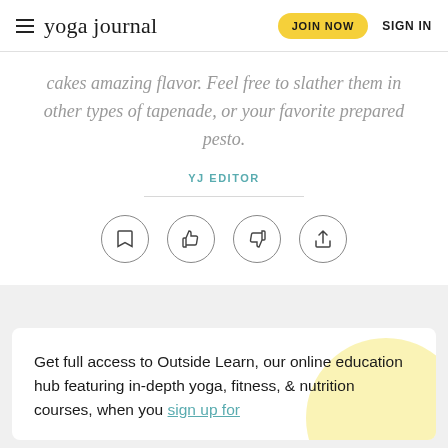yoga journal | JOIN NOW | SIGN IN
cakes amazing flavor. Feel free to slather them in other types of tapenade, or your favorite prepared pesto.
YJ EDITOR
[Figure (other): Four circular action icon buttons: bookmark, thumbs up, thumbs down, share]
Get full access to Outside Learn, our online education hub featuring in-depth yoga, fitness, & nutrition courses, when you sign up for Outside+.